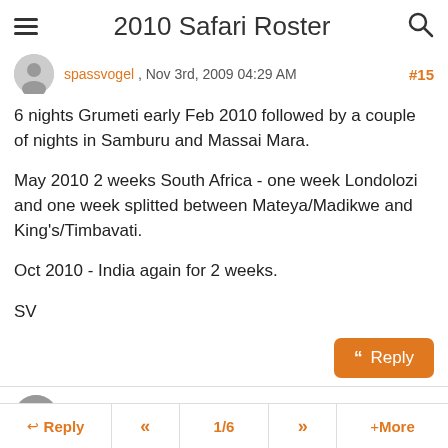2010 Safari Roster
spassvogel , Nov 3rd, 2009 04:29 AM  #15
6 nights Grumeti early Feb 2010 followed by a couple of nights in Samburu and Massai Mara.

May 2010 2 weeks South Africa - one week Londolozi and one week splitted between Mateya/Madikwe and King's/Timbavati.

Oct 2010 - India again for 2 weeks.

SV
flowerpower , Nov 3rd, 2009 06:23 AM  #16
Reply  «  1/6  »  + More